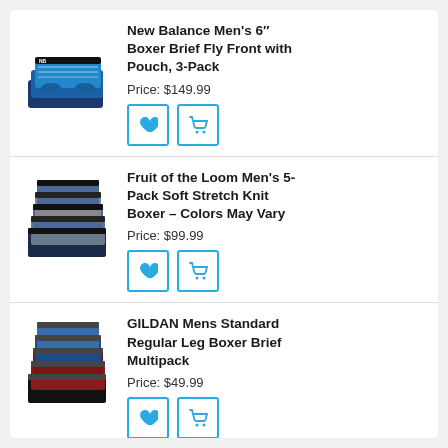[Figure (photo): New Balance Men's boxer briefs 3-pack product image, blue and patterned]
New Balance Men's 6" Boxer Brief Fly Front with Pouch, 3-Pack
Price: $149.99
[Figure (photo): Fruit of the Loom Men's 5-Pack boxer briefs product image, blue and grey colors]
Fruit of the Loom Men's 5-Pack Soft Stretch Knit Boxer – Colors May Vary
Price: $99.99
[Figure (photo): GILDAN Mens boxer brief multipack product image, blue, red, black colors]
GILDAN Mens Standard Regular Leg Boxer Brief Multipack
Price: $49.99
[Figure (photo): ZONBAILON Underwear Men Boxer Shorts Bamboo product image, yellow and black]
ZONBAILON Underwear Men Boxer Shorts Bamboo Boxers Briefs Pouch
Price: $84.99